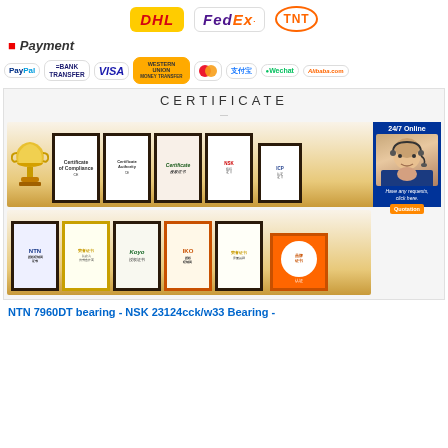[Figure (logo): DHL, FedEx, and TNT shipping carrier logos in a row]
* Payment
[Figure (logo): Payment method logos: PayPal, Bank Transfer, VISA, Western Union, MasterCard, Alipay (支付宝), WeChat, Alibaba.com]
[Figure (photo): Certificate section: two rows of framed certificates and awards on wooden shelves, including a gold trophy, NTN certificate, CE certificate, various branded certificates (Koyo, IKO, etc.), and a customer service agent overlay on the right]
NTN 7960DT bearing - NSK 23124cck/w33 Bearing -